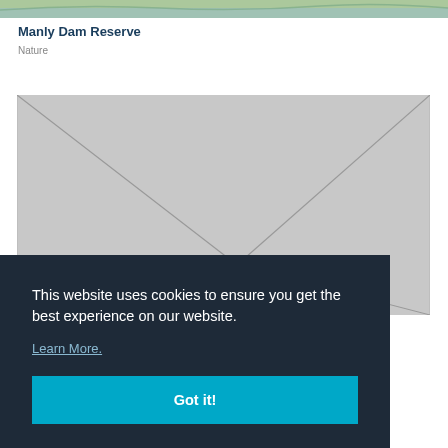[Figure (map): Partial map image at top of page showing terrain]
Manly Dam Reserve
Nature
[Figure (illustration): Grey placeholder box with envelope/diamond line pattern]
This website uses cookies to ensure you get the best experience on our website.
Learn More.
Got it!